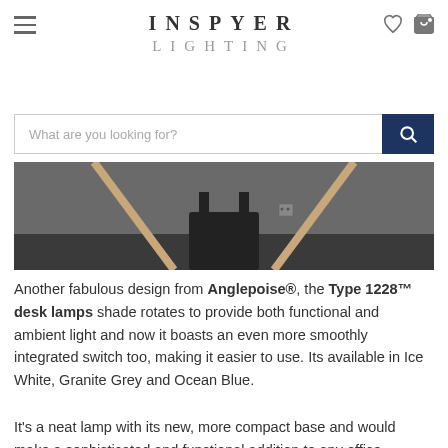INSPYER LIGHTING
[Figure (screenshot): A search bar with placeholder text 'What are you looking for?' and a dark navy search button with a magnifying glass icon]
[Figure (photo): A partial photo of what appears to be a desk lamp setup, showing wooden legs/stand against a grey background with a dark chair visible]
Another fabulous design from Anglepoise®, the Type 1228™ desk lamps shade rotates to provide both functional and ambient light and now it boasts an even more smoothly integrated switch too, making it easier to use. Its available in Ice White, Granite Grey and Ocean Blue.
It's a neat lamp with its new, more compact base and would make a sophisticated and functional addition to any office,